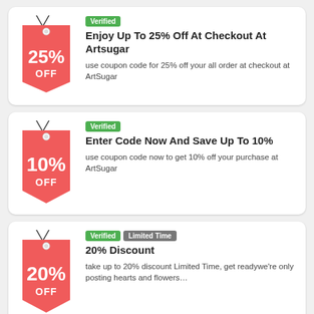[Figure (illustration): Red price tag with 25% OFF text]
Verified
Enjoy Up To 25% Off At Checkout At Artsugar
use coupon code for 25% off your all order at checkout at ArtSugar
[Figure (illustration): Red price tag with 10% OFF text]
Verified
Enter Code Now And Save Up To 10%
use coupon code now to get 10% off your purchase at ArtSugar
[Figure (illustration): Red price tag with 20% OFF text]
Verified  Limited Time
20% Discount
take up to 20% discount Limited Time, get readywe're only posting hearts and flowers…